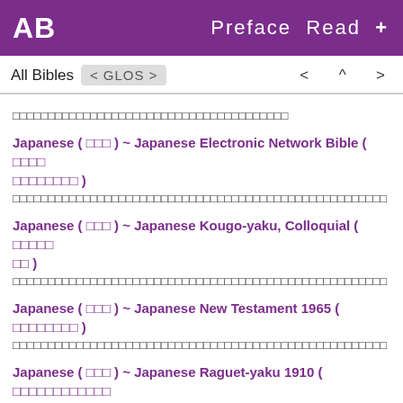AB  Preface  Read  +
All Bibles  < GLOS >  < ^ >
□□□□□□□□□□□□□□□□□□□□□□□□□□□□□□□□□□□□□□□
Japanese ( □□□ ) ~ Japanese Electronic Network Bible ( □□□□□□□□□□□□ )
□□□□□□□□□□□□□□□□□□□□□□□□□□□□□□□□□□□□□□□□□□□□□□□□□□□□
Japanese ( □□□ ) ~ Japanese Kougo-yaku, Colloquial ( □□□□□□□□ )
□□□□□□□□□□□□□□□□□□□□□□□□□□□□□□□□□□□□□□□□□□□□□□□□□□□□
Japanese ( □□□ ) ~ Japanese New Testament 1965 ( □□□□□□□□ )
□□□□□□□□□□□□□□□□□□□□□□□□□□□□□□□□□□□□□□□□□□□□□□□□□□□□
Japanese ( □□□ ) ~ Japanese Raguet-yaku 1910 ( □□□□□□□□□□□□□□□□□□□ )
□□□□□□□□□□□□□□□□□□□□□□□□□□□□□□□□□□□□□□